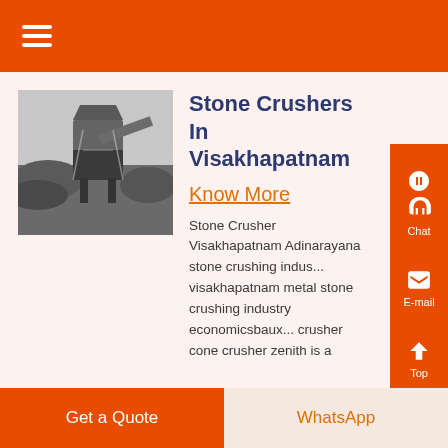≡ (hamburger menu)
[Figure (photo): Black and white photograph of a stone crusher machine at a quarry site with piles of crushed stone and construction equipment in the background under an overcast sky.]
Stone Crushers In Visakhapatnam
Know More
Stone Crusher Visakhapatnam Adinarayana stone crushing industry visakhapatnam metal stone crushing industry economicsbauxite crusher cone crusher zenith is a
Get a Quote
WhatsApp